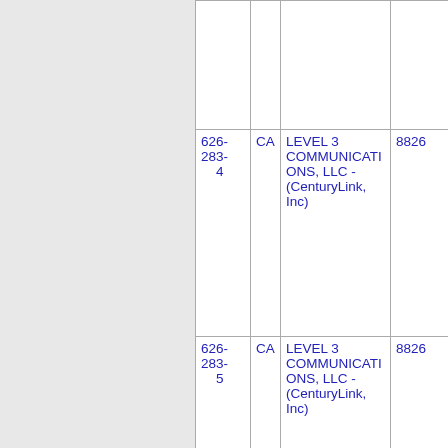| Phone | State | Carrier | Num |
| --- | --- | --- | --- |
| 626-
283-
    4 | CA | LEVEL 3 COMMUNICATIONS, LLC - (CenturyLink, Inc) | 8826 |
| 626-
283-
    5 | CA | LEVEL 3 COMMUNICATIONS, LLC - (CenturyLink, Inc) | 8826 |